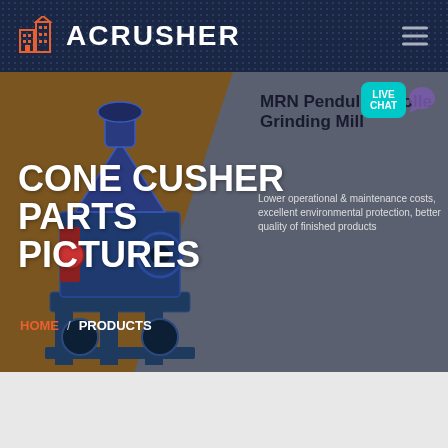[Figure (logo): ACRUSHER logo with orange building/factory icon on dark navy header bar with hamburger menu icon]
[Figure (screenshot): Website hero section showing cone crusher machine on brown diagonal background panel, with gray right panel showing MRN Pendulum Roller Grinding Mill product card and live chat button]
CONE CUSHER PARTS PICTURES
MRN Pendulum Roller Grinding Mill
Lower operational & maintenance costs, excellent environmental protection, better quality of finished products
HOME / PRODUCTS